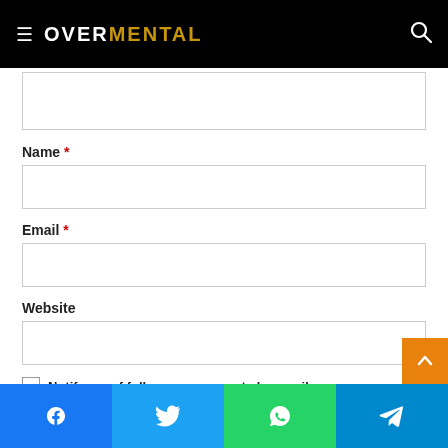OVERMENTAL
Name *
Email *
Website
Notify me of follow-up comments by email.